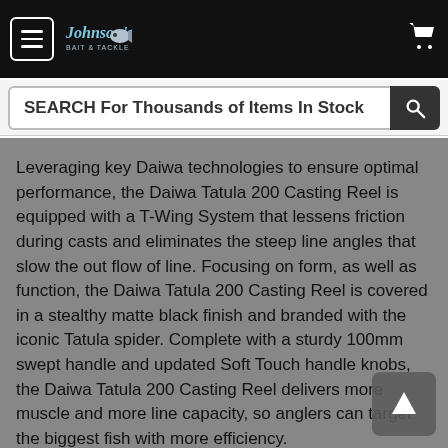Johnson's Bait & Tackle — navigation header with hamburger menu and cart icon
SEARCH For Thousands of Items In Stock
Leveraging key Daiwa technologies to ensure optimal performance, the Daiwa Tatula 200 Casting Reel is equipped with a T-Wing System that lessens friction during casts and eliminates the steep line angles that slow the out flow of line. Focusing on form, as well as function, the Daiwa Tatula 200 Casting Reel is covered in a stealthy matte black finish and branded with the iconic Tatula spider. Complete with a sturdy 100mm swept handle and updated Soft Touch handle knobs, the Daiwa Tatula 200 Casting Reel delivers more muscle and more line capacity, so anglers can target the biggest fish with more efficiency.